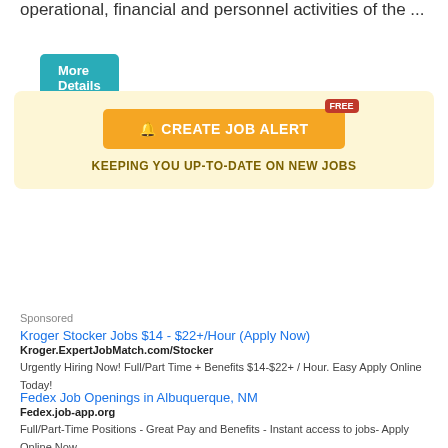operational, financial and personnel activities of the ...
More Details
[Figure (infographic): Create Job Alert banner with FREE badge, orange button with bell icon, and text KEEPING YOU UP-TO-DATE ON NEW JOBS]
1 2 3 4 5 >
Sponsored
Kroger Stocker Jobs $14 - $22+/Hour (Apply Now)
Kroger.ExpertJobMatch.com/Stocker
Urgently Hiring Now! Full/Part Time + Benefits $14-$22+ / Hour. Easy Apply Online Today!
Fedex Job Openings in Albuquerque, NM
Fedex.job-app.org
Full/Part-Time Positions - Great Pay and Benefits - Instant access to jobs- Apply Online Now.